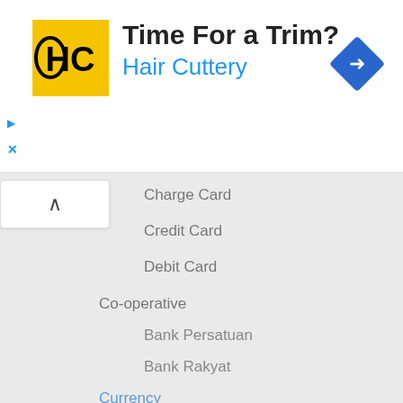[Figure (screenshot): Hair Cuttery advertisement banner with yellow/black logo, text 'Time For a Trim?' and 'Hair Cuttery', and a blue diamond navigation icon]
Charge Card
Credit Card
Debit Card
Co-operative
Bank Persatuan
Bank Rakyat
Currency
Economy
Employees Provident Fund
Entrepreneur
Event
Financial Management